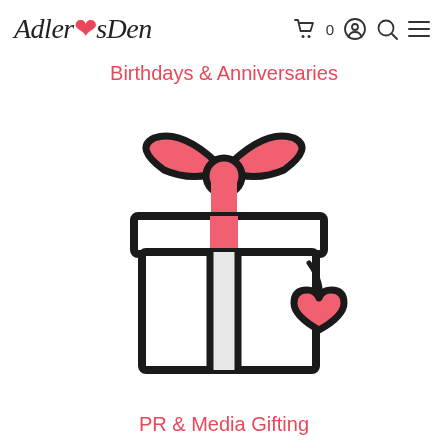AdlersDen — navigation header with cart, account, search, menu icons
Birthdays & Anniversaries
[Figure (illustration): A gift box icon with a pink bow on top and a pink heart tag hanging from the side. The box is drawn in a bold line-art style with black outlines on a white background. The bow and heart are filled with a salmon/coral pink color.]
PR & Media Gifting